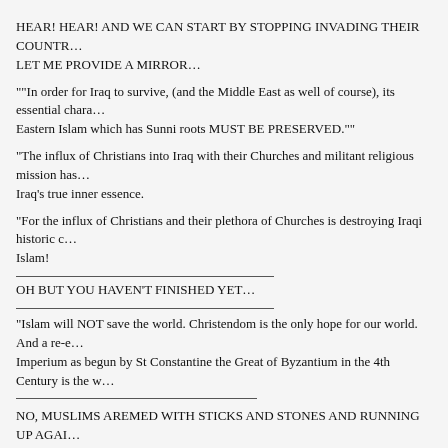HEAR! HEAR! AND WE CAN START BY STOPPING INVADING THEIR COUNTR… LET ME PROVIDE A MIRROR…
""In order for Iraq to survive, (and the Middle East as well of course), its essential chara… Eastern Islam which has Sunni roots MUST BE PRESERVED.""
"The influx of Christians into Iraq with their Churches and militant religious mission has… Iraq's true inner essence.
"For the influx of Christians and their plethora of Churches is destroying Iraqi historic c… Islam!
OH BUT YOU HAVEN'T FINISHED YET…
"Islam will NOT save the world. Christendom is the only hope for our world. And a re-e… Imperium as begun by St Constantine the Great of Byzantium in the 4th Century is the w…
NO, MUSLIMS AREMED WITH STICKS AND STONES AND RUNNING UP AGAI… HELICOPTER GUNSHIPS HAVE TURNED THE TIDE AGAINST THE JEW.
NO ONE CARES ABOUT ERNST ZUNDEL OR HOW MANY DIED IN THE HOLO… ABOUT CHILDREN DYING IN AIR RAIDS ON DEFENSELESS WOMEN AND CH… AMERICAN MADE AND SUPPLIED EQUIPMENT.